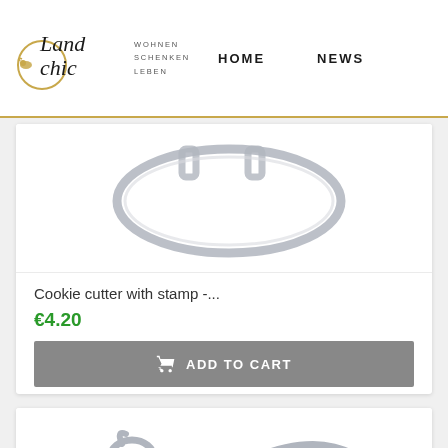[Figure (logo): Landchic logo with handwritten script text and decorative circle with bird, alongside tagline WOHNEN SCHENKEN LEBEN]
HOME   NEWS
[Figure (photo): Cookie cutter with stamp product image - metal ring cutter viewed from above on white background]
Cookie cutter with stamp -...
€4.20
ADD TO CART
[Figure (photo): Metal cookie cutter in shape of squirrel, silver colored, viewed from the side]